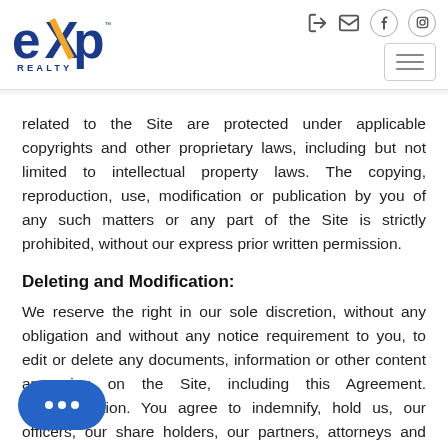eXp Realty header with logo and navigation icons
related to the Site are protected under applicable copyrights and other proprietary laws, including but not limited to intellectual property laws. The copying, reproduction, use, modification or publication by you of any such matters or any part of the Site is strictly prohibited, without our express prior written permission.
Deleting and Modification:
We reserve the right in our sole discretion, without any obligation and without any notice requirement to you, to edit or delete any documents, information or other content appearing on the Site, including this Agreement. Indemnification. You agree to indemnify, hold us, our officers, our share holders, our partners, attorneys and employees harmless from any and all liability, loss,